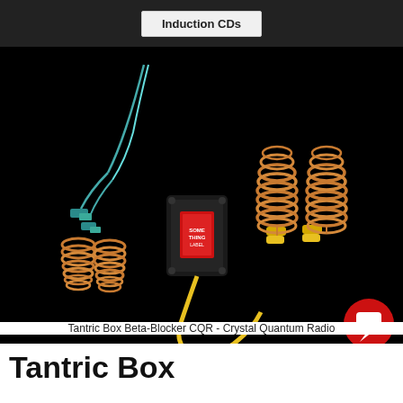Induction CDs
[Figure (photo): Photo of Tantric Box Beta-Blocker CQR - Crystal Quantum Radio device. Shows copper wire coil electrodes connected with teal/blue wires on the left side and yellow wires on the right side, with a central black switch box featuring a red label, all on a black background.]
Tantric Box Beta-Blocker CQR - Crystal Quantum Radio
Tantric Box